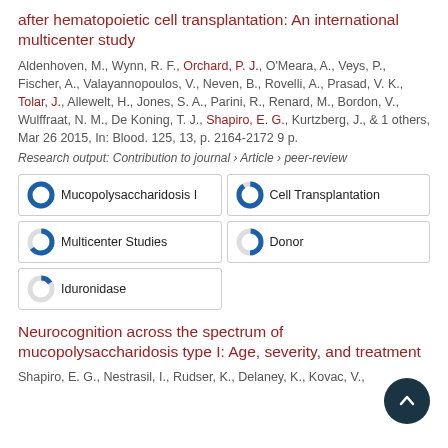after hematopoietic cell transplantation: An international multicenter study
Aldenhoven, M., Wynn, R. F., Orchard, P. J., O'Meara, A., Veys, P., Fischer, A., Valayannopoulos, V., Neven, B., Rovelli, A., Prasad, V. K., Tolar, J., Allewelt, H., Jones, S. A., Parini, R., Renard, M., Bordon, V., Wulffraat, N. M., De Koning, T. J., Shapiro, E. G., Kurtzberg, J., & 1 others, Mar 26 2015, In: Blood. 125, 13, p. 2164-2172 9 p.
Research output: Contribution to journal › Article › peer-review
[Figure (infographic): Keyword badges with donut chart icons showing percentage coverage: Mucopolysaccharidosis I (100%), Cell Transplantation (~90%), Multicenter Studies (~65%), Donor (~50%), Iduronidase (~15%)]
Neurocognition across the spectrum of mucopolysaccharidosis type I: Age, severity, and treatment
Shapiro, E. G., Nestrasil, I., Rudser, K., Delaney, K., Kovac, V.,